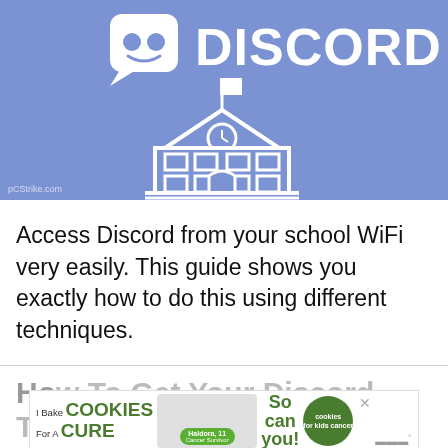[Figure (illustration): Discord logo (white icon with robot face in speech bubble and text DISCORD) above a white outline illustration of a school building with clock tower and flag, on a periwinkle/cornflower blue background. Watermark 'pCStrike.com' in bottom left.]
Access Discord from your school WiFi very easily. This guide shows you exactly how to do this using different techniques.
Ho... (truncated section title, partially visible at bottom)